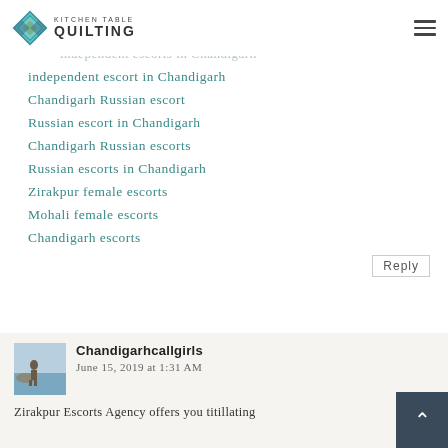Kitchen Table Quilting
Chandigarh independent escorts
Chandigarh independent escort
independent escorts in Chandigarh
independent escort in Chandigarh
Chandigarh Russian escort
Russian escort in Chandigarh
Chandigarh Russian escorts
Russian escorts in Chandigarh
Zirakpur female escorts
Mohali female escorts
Chandigarh escorts
Reply
Chandigarhcallgirls
June 15, 2019 at 1:31 AM
Zirakpur Escorts Agency offers you titillating